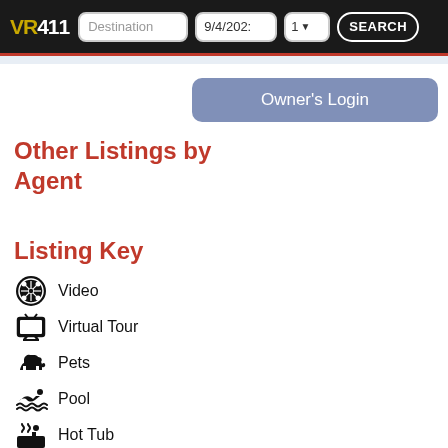VR411 | Destination | 9/4/2023 | 1 | SEARCH
Owner's Login
Other Listings by Agent
Listing Key
Video
Virtual Tour
Pets
Pool
Hot Tub
Internet
Smoking